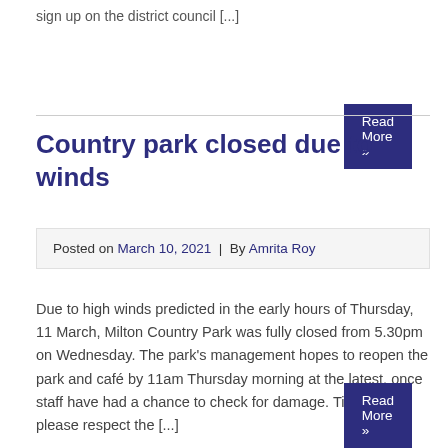sign up on the district council [...]
Read More »
Country park closed due to winds
Posted on March 10, 2021 | By Amrita Roy
Due to high winds predicted in the early hours of Thursday, 11 March, Milton Country Park was fully closed from 5.30pm on Wednesday. The park's management hopes to reopen the park and café by 11am Thursday morning at the latest, once staff have had a chance to check for damage. Till then, please respect the [...]
Read More »